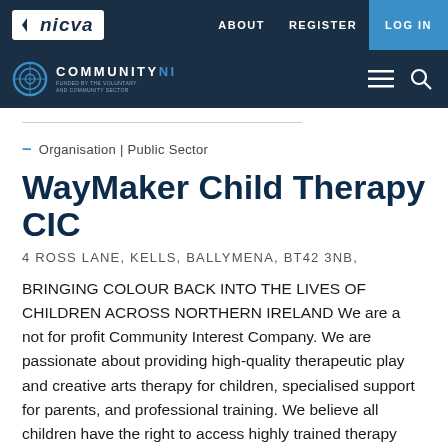nicva | ABOUT REGISTER LOG IN
COMMUNITYNI
– Organisation | Public Sector
WayMaker Child Therapy CIC
4 ROSS LANE, KELLS, BALLYMENA, BT42 3NB,
BRINGING COLOUR BACK INTO THE LIVES OF CHILDREN ACROSS NORTHERN IRELAND We are a not for profit Community Interest Company. We are passionate about providing high-quality therapeutic play and creative arts therapy for children, specialised support for parents, and professional training. We believe all children have the right to access highly trained therapy